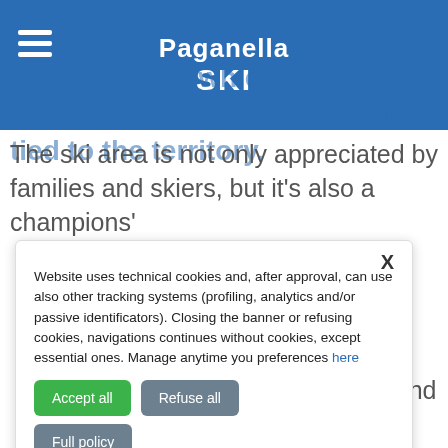Paganella SKI
food tradition which give guests an experience strongly tied to the territory.
The ski area is not only appreciated by families and skiers, but it's also a champions' ers, Andalo - opean training ding Bode er american und Svindal and cted it as their mpions not only preparing the r busy season, uman ity going well and the races
Website uses technical cookies and, after approval, can use also other tracking systems (profiling, analytics and/or passive identificators). Closing the banner or refusing cookies, navigations continues without cookies, except essential ones. Manage anytime you preferences here
Accept all
Refuse all
Full policy
Manage preferences